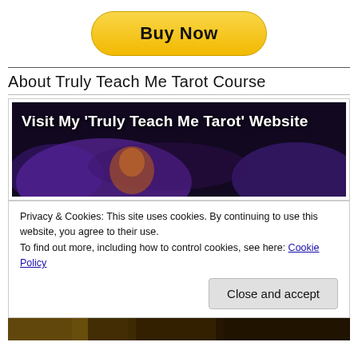[Figure (other): PayPal 'Buy Now' button — yellow rounded rectangle with bold black text]
About Truly Teach Me Tarot Course
[Figure (illustration): Banner image with dark purple/mystic background and glowing purple effects. White bold text reads: Visit My 'Truly Teach Me Tarot' Website]
Privacy & Cookies: This site uses cookies. By continuing to use this website, you agree to their use.
To find out more, including how to control cookies, see here: Cookie Policy
[Figure (photo): Bottom strip showing tarot card imagery with gold/dark tones, partially cropped]